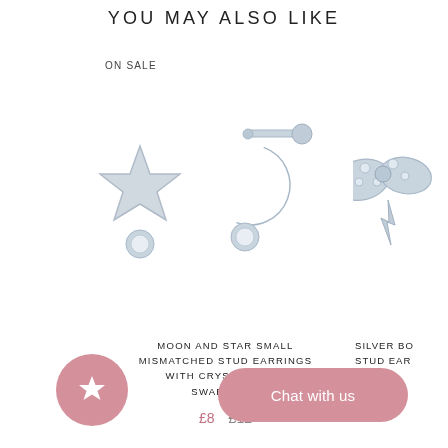YOU MAY ALSO LIKE
ON SALE
[Figure (photo): Silver moon and star mismatched stud earrings with crystals, shown against white background]
[Figure (photo): Partial view of silver bow stud earrings with crystals, partially cropped at right edge]
MOON AND STAR SMALL MISMATCHED STUD EARRINGS WITH CRYSTALS FROM SWAROVSKI
SILVER BO STUD EAR
£8  £12